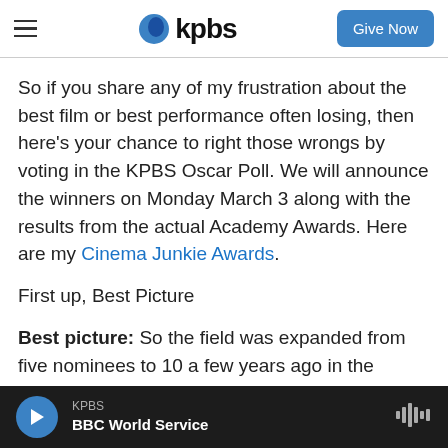kpbs — Give Now
So if you share any of my frustration about the best film or best performance often losing, then here's your chance to right those wrongs by voting in the KPBS Oscar Poll. We will announce the winners on Monday March 3 along with the results from the actual Academy Awards. Here are my Cinema Junkie Awards.
First up, Best Picture
Best picture: So the field was expanded from five nominees to 10 a few years ago in the hopes of broadening the pool and getting more diversity
KPBS — BBC World Service